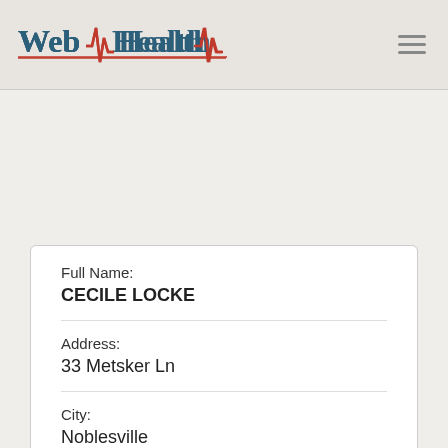[Figure (logo): Web Health Network logo with heartbeat line in red/dark-blue text]
Full Name:
CECILE LOCKE
Address:
33 Metsker Ln
City:
Noblesville